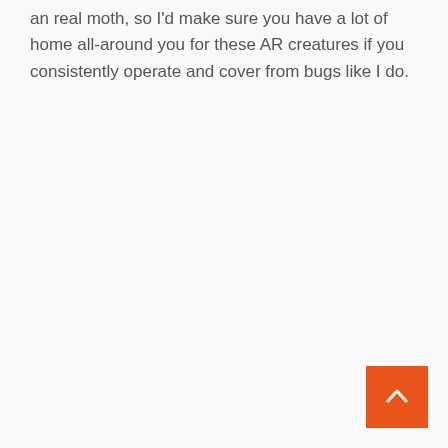an real moth, so I'd make sure you have a lot of home all-around you for these AR creatures if you consistently operate and cover from bugs like I do.
[Figure (other): Orange square button with a white upward-pointing chevron arrow, functioning as a back-to-top navigation button, positioned in the bottom-right corner.]